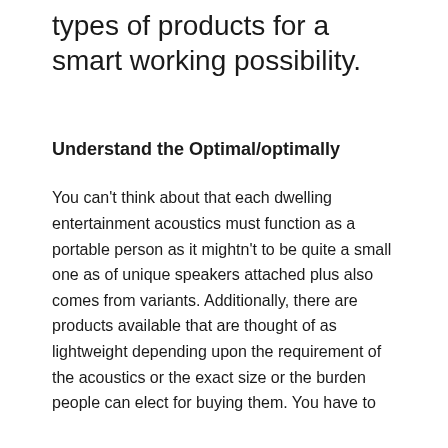types of products for a smart working possibility.
Understand the Optimal/optimally
You can't think about that each dwelling entertainment acoustics must function as a portable person as it mightn't to be quite a small one as of unique speakers attached plus also comes from variants. Additionally, there are products available that are thought of as lightweight depending upon the requirement of the acoustics or the exact size or the burden people can elect for buying them. You have to